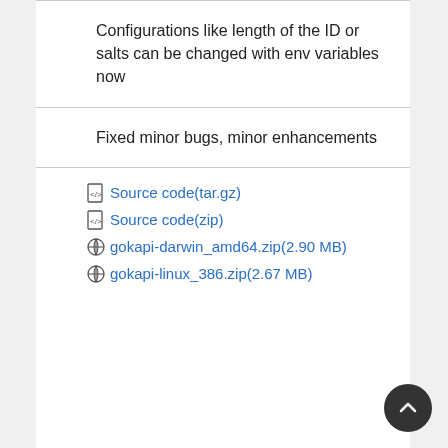Configurations like length of the ID or salts can be changed with env variables now
Fixed minor bugs, minor enhancements
Source code(tar.gz)
Source code(zip)
gokapi-darwin_amd64.zip(2.90 MB)
gokapi-linux_386.zip(2.67 MB)